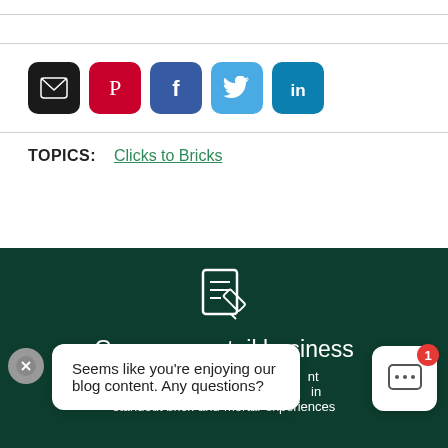[Figure (infographic): Social media share buttons: email (black), Pinterest (red), Facebook (blue), Twitter (light blue), LinkedIn (dark blue)]
TOPICS: Clicks to Bricks
[Figure (infographic): Dark green promotional banner with pencil/document icon, text 'Grow your retail business', partial body text, and a chat overlay bubble saying 'Seems like you're enjoying our blog content. Any questions?' with a chat widget showing badge '1']